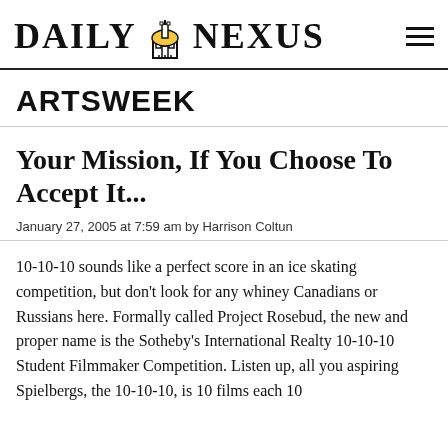DAILY NEXUS
ARTSWEEK
Your Mission, If You Choose To Accept It...
January 27, 2005 at 7:59 am by Harrison Coltun
10-10-10 sounds like a perfect score in an ice skating competition, but don't look for any whiney Canadians or Russians here. Formally called Project Rosebud, the new and proper name is the Sotheby's International Realty 10-10-10 Student Filmmaker Competition. Listen up, all you aspiring Spielbergs, the 10-10-10, is 10 films each 10